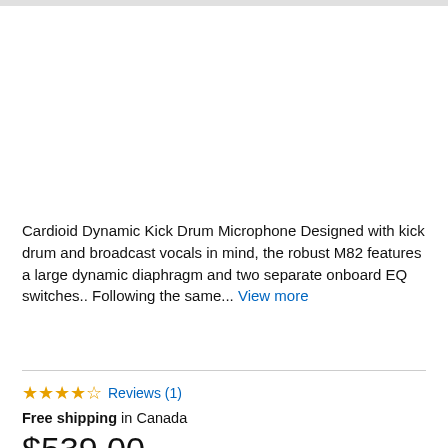Cardioid Dynamic Kick Drum Microphone Designed with kick drum and broadcast vocals in mind, the robust M82 features a large dynamic diaphragm and two separate onboard EQ switches.. Following the same... View more
★★★★☆ Reviews (1)
Free shipping in Canada
$539.00
Save 9.9%  MSRP $598.00